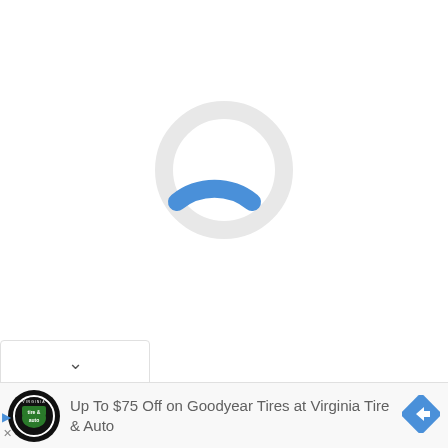[Figure (other): A circular loading spinner. Most of the ring is light gray, with a short blue arc segment at the bottom indicating loading progress.]
[Figure (other): A dropdown chevron (down arrow) element in a white rounded tab/bar at the bottom left.]
[Figure (other): Advertisement banner: Virginia Tire and Auto circular logo on the left, text 'Up To $75 Off on Goodyear Tires at Virginia Tire & Auto' in the center, and a blue diamond navigation icon on the right.]